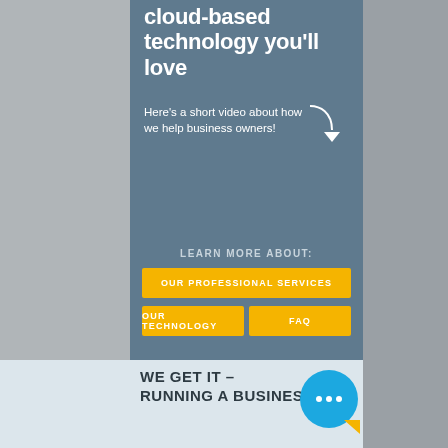cloud-based technology you'll love
Here's a short video about how we help business owners!
LEARN MORE ABOUT:
OUR PROFESSIONAL SERVICES
OUR TECHNOLOGY
FAQ
WE GET IT – RUNNING A BUSINESS